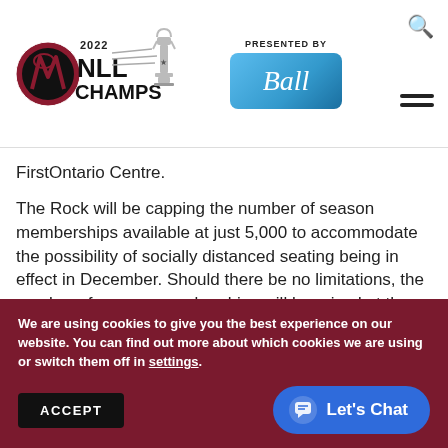[Figure (logo): 2022 NLL Champs logo with trophy graphic and 'Presented by Ball' branding]
FirstOntario Centre.
The Rock will be capping the number of season memberships available at just 5,000 to accommodate the possibility of socially distanced seating being in effect in December. Should there be no limitations, the number of season memberships will be raised at the
We are using cookies to give you the best experience on our website. You can find out more about which cookies we are using or switch them off in settings.
ACCEPT
Let's Chat